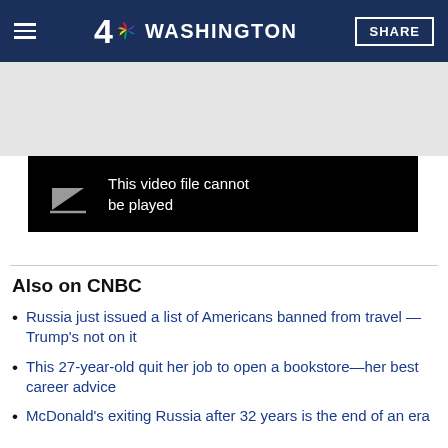4 NBC Washington | SHARE
[Figure (screenshot): Black video player box showing error message: This video file cannot be played]
Also on CNBC
Russia just issued a list of Americans banned from travel — Trump's not on it
This 27-year-old quit her job to open a bookstore—her best career advice
McDonald's exiting Russia after 32 years is the end of an era